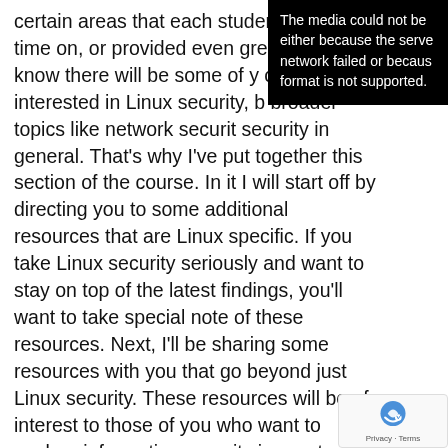certain areas that each student wis more time on, or provided even gre Also, I know there will be some of y only interested in Linux security, b broader topics like network securit security in general. That's why I've put together this section of the course. In it I will start off by directing you to some additional resources that are Linux specific. If you take Linux security seriously and want to stay on top of the latest findings, you'll want to take special note of these resources. Next, I'll be sharing some resources with you that go beyond just Linux security. These resources will be of interest to those of you who want to explore information security in greater detail, and the broader implications of information security. I pu together a list of Linux hardening guides that yo can read online or download, they're located at
[Figure (screenshot): Black overlay box with white text: 'The media could not be either because the serve network failed or becaus format is not supported.']
[Figure (other): reCAPTCHA logo with 'Privacy - Terms' text below]